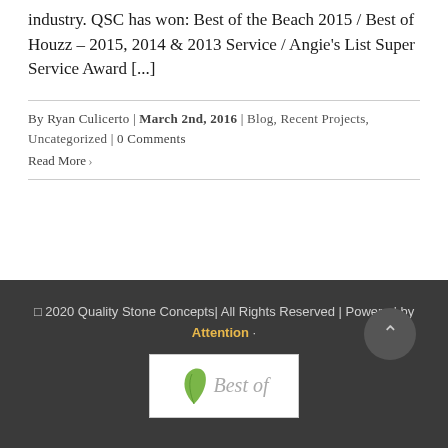industry. QSC has won: Best of the Beach 2015 / Best of Houzz – 2015, 2014 & 2013 Service / Angie's List Super Service Award [...]
By Ryan Culicerto | March 2nd, 2016 | Blog, Recent Projects, Uncategorized | 0 Comments
Read More ›
© 2020 Quality Stone Concepts| All Rights Reserved | Powered by Attention ·
[Figure (logo): Best of Houzz badge — white background with green leaf logo and grey italic 'Best of' text]